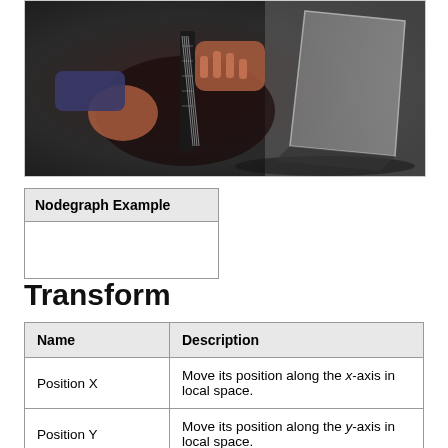[Figure (photo): A person playing an electric guitar, hands visible on the fretboard and strings, dark moody lighting. The image appears displayed on a tilted flat screen or panel with a gray shadowed background.]
| Nodegraph Example |
| --- |
|  |
Transform
| Name | Description |
| --- | --- |
| Position X | Move its position along the x-axis in local space. |
| Position Y | Move its position along the y-axis in local space. |